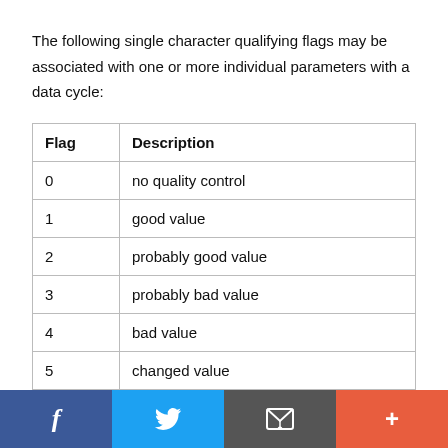The following single character qualifying flags may be associated with one or more individual parameters with a data cycle:
| Flag | Description |
| --- | --- |
| 0 | no quality control |
| 1 | good value |
| 2 | probably good value |
| 3 | probably bad value |
| 4 | bad value |
| 5 | changed value |